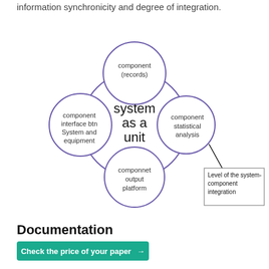information synchronicity and degree of integration.
[Figure (schematic): Circular diagram showing 'system as a unit' in the center large circle, surrounded by four smaller overlapping circles: 'component (records)' at top, 'component statistical analysis' at right, 'componnet output platform' at bottom, 'component interface btn System and equipment' at left. A line connects the right circle to a box labeled 'Level of the system-component integration'.]
Documentation
Check the price of your paper →